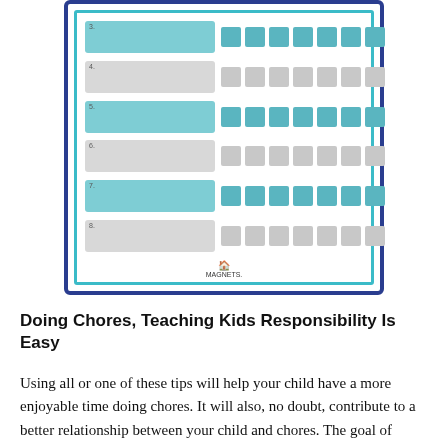[Figure (other): A chore chart with 6 rows. Alternating teal and gray rows with a label area on the left and 7 checkbox squares on the right. Bottom shows a small logo reading 'MAGNETS'. The chart is framed with a dark blue outer border and a teal inner border.]
Doing Chores, Teaching Kids Responsibility Is Easy
Using all or one of these tips will help your child have a more enjoyable time doing chores. It will also, no doubt, contribute to a better relationship between your child and chores. The goal of